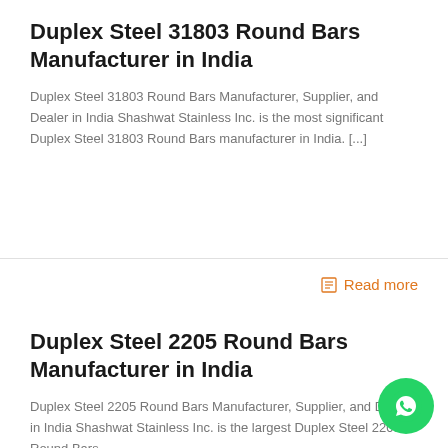Duplex Steel 31803 Round Bars Manufacturer in India
Duplex Steel 31803 Round Bars Manufacturer, Supplier, and Dealer in India Shashwat Stainless Inc. is the most significant Duplex Steel 31803 Round Bars manufacturer in India. [...]
Read more
Duplex Steel 2205 Round Bars Manufacturer in India
Duplex Steel 2205 Round Bars Manufacturer, Supplier, and Dealer in India Shashwat Stainless Inc. is the largest Duplex Steel 2205 Round Bars